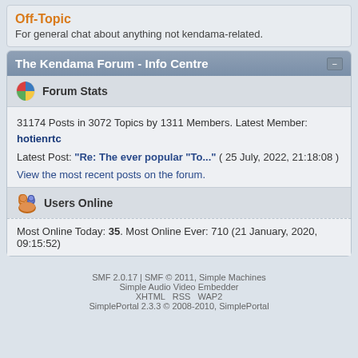Off-Topic
For general chat about anything not kendama-related.
The Kendama Forum - Info Centre
Forum Stats
31174 Posts in 3072 Topics by 1311 Members. Latest Member: hotienrtc
Latest Post: "Re: The ever popular "To..." ( 25 July, 2022, 21:18:08 )
View the most recent posts on the forum.
Users Online
Most Online Today: 35. Most Online Ever: 710 (21 January, 2020, 09:15:52)
SMF 2.0.17 | SMF © 2011, Simple Machines
Simple Audio Video Embedder
XHTML RSS WAP2
SimplePortal 2.3.3 © 2008-2010, SimplePortal